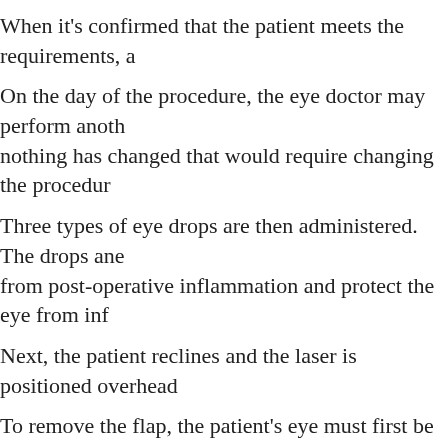When it's confirmed that the patient meets the requirements, a
On the day of the procedure, the eye doctor may perform another examination to confirm nothing has changed that would require changing the procedure.
Three types of eye drops are then administered. The drops anesthetize the eye, protect from post-operative inflammation and protect the eye from infection.
Next, the patient reclines and the laser is positioned overhead.
To remove the flap, the patient's eye must first be stabilized. This is done by placing it into a restrainer.
Suction is administered to the eyeball and the microkeratome moves across the Cornea.
The resulting flap (which should still be hinged to the eye) is
The laser then emits a pre-determined number of laser pulses to the eye, which takes literally seconds.
The flap is pulled back into place and saline solution clears the